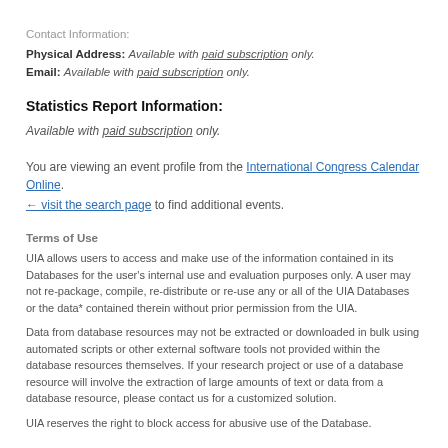Contact Information:
Physical Address: Available with paid subscription only.
Email: Available with paid subscription only.
Statistics Report Information:
Available with paid subscription only.
You are viewing an event profile from the International Congress Calendar Online. ← visit the search page to find additional events.
Terms of Use
UIA allows users to access and make use of the information contained in its Databases for the user's internal use and evaluation purposes only. A user may not re-package, compile, re-distribute or re-use any or all of the UIA Databases or the data* contained therein without prior permission from the UIA.
Data from database resources may not be extracted or downloaded in bulk using automated scripts or other external software tools not provided within the database resources themselves. If your research project or use of a database resource will involve the extraction of large amounts of text or data from a database resource, please contact us for a customized solution.
UIA reserves the right to block access for abusive use of the Database.